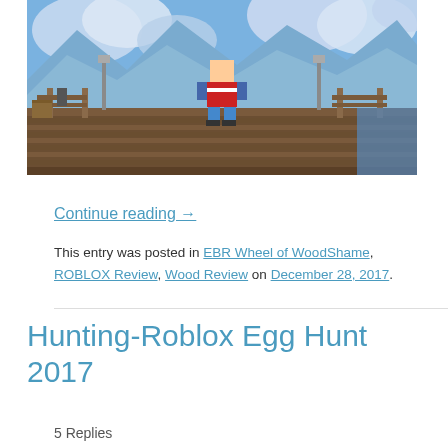[Figure (screenshot): Roblox game screenshot showing a character standing on a wooden dock with a snowy mountain/winter landscape background with blue sky and clouds]
Continue reading →
This entry was posted in EBR Wheel of WoodShame, ROBLOX Review, Wood Review on December 28, 2017.
Hunting-Roblox Egg Hunt 2017
5 Replies